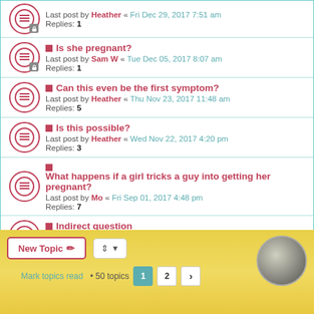Last post by Heather « Fri Dec 29, 2017 7:51 am
Replies: 1
Is she pregnant?
Last post by Sam W « Tue Dec 05, 2017 8:07 am
Replies: 1
Can this even be the first symptom?
Last post by Heather « Thu Nov 23, 2017 11:48 am
Replies: 5
Is this possible?
Last post by Heather « Wed Nov 22, 2017 4:20 pm
Replies: 3
What happens if a girl tricks a guy into getting her pregnant?
Last post by Mo « Fri Sep 01, 2017 4:48 pm
Replies: 7
Indirect question
Last post by Sam W « Sat Aug 19, 2017 8:04 am
Replies: 1
Mark topics read • 50 topics
New Topic